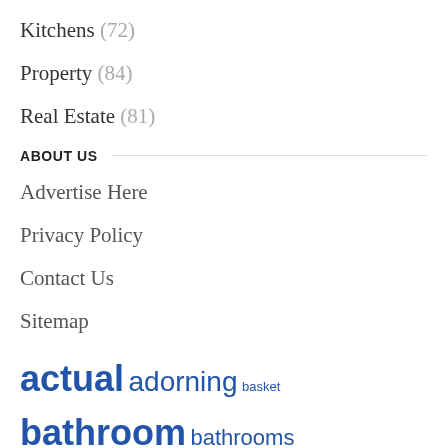Kitchens (72)
Property (84)
Real Estate (81)
ABOUT US
Advertise Here
Privacy Policy
Contact Us
Sitemap
actual adorning basket bathroom bathrooms concepts countertop cupboards decor decorating design designs double dwelling estate footage